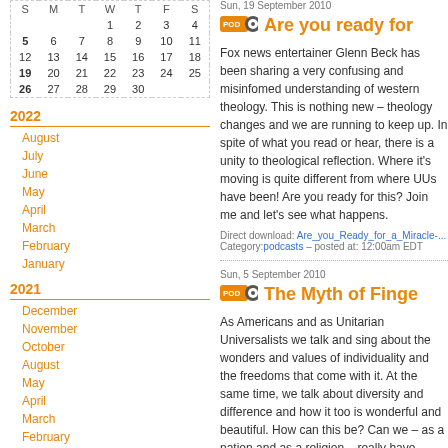| S | M | T | W | T | F | S |
| --- | --- | --- | --- | --- | --- | --- |
|  |  |  | 1 | 2 | 3 | 4 |
| 5 | 6 | 7 | 8 | 9 | 10 | 11 |
| 12 | 13 | 14 | 15 | 16 | 17 | 18 |
| 19 | 20 | 21 | 22 | 23 | 24 | 25 |
| 26 | 27 | 28 | 29 | 30 |  |  |
2022
August
July
June
May
April
March
February
January
2021
December
November
October
August
May
April
March
February
January
2020
December
Sun, 19 September 2010
Are you ready for...
Fox news entertainer Glenn Beck has been sharing a very confusing and misinfomed understanding of western theology. This is nothing new – theology changes and we are running to keep up.  In spite of what you read or hear, there is a unity to theological reflection. Where it's moving is quite different from where UUs have been!  Are you ready for this? Join me and let's see what happens.
Direct download: Are_you_Ready_for_a_Miracle-...
Category:podcasts – posted at: 12:00am EDT
Sun, 5 September 2010
The Myth of Finge...
As Americans and as Unitarian Universalists we talk and sing about the wonders and values of individuality and the freedoms that come with it.  At the same time, we talk about diversity and difference and how it too is wonderful and beautiful.  How can this be?  Can we – as a nation and as a religion – really have both?  Is there unity in our diversity?